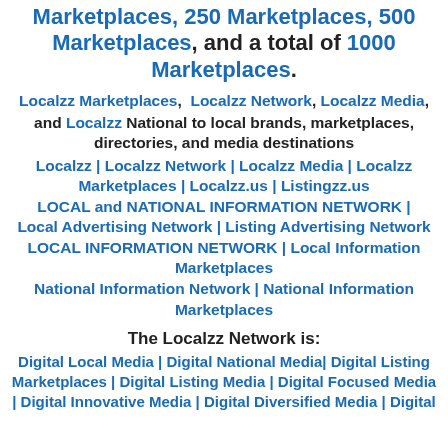Marketplaces, 250 Marketplaces, 500 Marketplaces, and a total of 1000 Marketplaces.
Localzz Marketplaces, Localzz Network, Localzz Media, and Localzz National to local brands, marketplaces, directories, and media destinations
Localzz | Localzz Network | Localzz Media | Localzz Marketplaces | Localzz.us | Listingzz.us LOCAL and NATIONAL INFORMATION NETWORK | Local Advertising Network | Listing Advertising Network LOCAL INFORMATION NETWORK | Local Information Marketplaces
National Information Network | National Information Marketplaces
The Localzz Network is:
Digital Local Media | Digital National Media | Digital Listing Marketplaces | Digital Listing Media | Digital Focused Media | Digital Innovative Media | Digital Diversified Media | Digital